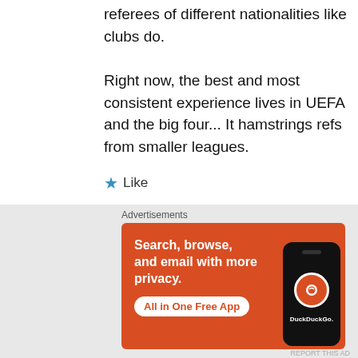referees of different nationalities like clubs do.
Right now, the best and most consistent experience lives in UEFA and the big four... It hamstrings refs from smaller leagues.
★ Like
Advertisements
[Figure (screenshot): DuckDuckGo advertisement banner on orange background. Text: 'Search, browse, and email with more privacy. All in One Free App'. Shows a smartphone with DuckDuckGo logo.]